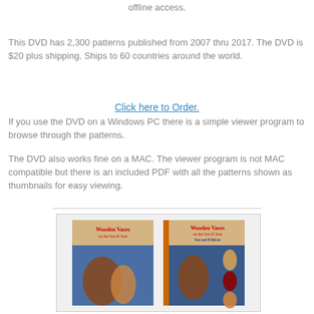Purchase the entire Scrollsaw Workshop pattern catalog for offline access.
This DVD has 2,300 patterns published from 2007 thru 2017. The DVD is $20 plus shipping. Ships to 60 countries around the world.
Click here to Order.
If you use the DVD on a Windows PC there is a simple viewer program to browse through the patterns.
The DVD also works fine on a MAC. The viewer program is not MAC compatible but there is an included PDF with all the patterns shown as thumbnails for easy viewing.
[Figure (photo): Two book covers for 'Wooden Vases on the Scroll Saw' — first edition and second edition, shown side by side in a light gray bordered box.]